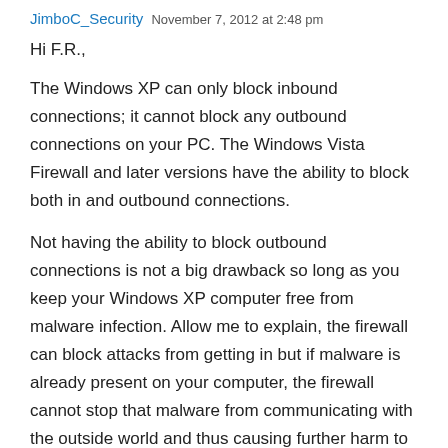JimboC_Security  November 7, 2012 at 2:48 pm
Hi F.R.,
The Windows XP can only block inbound connections; it cannot block any outbound connections on your PC. The Windows Vista Firewall and later versions have the ability to block both in and outbound connections.
Not having the ability to block outbound connections is not a big drawback so long as you keep your Windows XP computer free from malware infection. Allow me to explain, the firewall can block attacks from getting in but if malware is already present on your computer, the firewall cannot stop that malware from communicating with the outside world and thus causing further harm to your computer since it has the potential to download more malware.
Please do not mis-understand me; I am not saying that